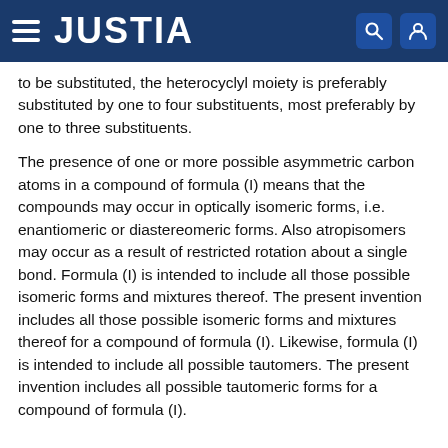JUSTIA
to be substituted, the heterocyclyl moiety is preferably substituted by one to four substituents, most preferably by one to three substituents.
The presence of one or more possible asymmetric carbon atoms in a compound of formula (I) means that the compounds may occur in optically isomeric forms, i.e. enantiomeric or diastereomeric forms. Also atropisomers may occur as a result of restricted rotation about a single bond. Formula (I) is intended to include all those possible isomeric forms and mixtures thereof. The present invention includes all those possible isomeric forms and mixtures thereof for a compound of formula (I). Likewise, formula (I) is intended to include all possible tautomers. The present invention includes all possible tautomeric forms for a compound of formula (I).